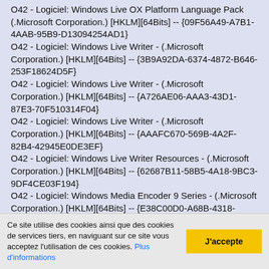O42 - Logiciel: Windows Live OX Platform Language Pack (.Microsoft Corporation.) [HKLM][64Bits] -- {09F56A49-A7B1-4AAB-95B9-D13094254AD1}
O42 - Logiciel: Windows Live Writer - (.Microsoft Corporation.) [HKLM][64Bits] -- {3B9A92DA-6374-4872-B646-253F18624D5F}
O42 - Logiciel: Windows Live Writer - (.Microsoft Corporation.) [HKLM][64Bits] -- {A726AE06-AAA3-43D1-87E3-70F510314F04}
O42 - Logiciel: Windows Live Writer - (.Microsoft Corporation.) [HKLM][64Bits] -- {AAAFC670-569B-4A2F-82B4-42945E0DE3EF}
O42 - Logiciel: Windows Live Writer Resources - (.Microsoft Corporation.) [HKLM][64Bits] -- {62687B11-58B5-4A18-9BC3-9DF4CE03F194}
O42 - Logiciel: Windows Media Encoder 9 Series - (.Microsoft Corporation.) [HKLM][64Bits] -- {E38C00D0-A68B-4318-A8A6-F7D4B5B1DF0E}
O42 - Logiciel: Windows Media Encoder 9 Series - (.Pas de propriétaire.) [HKLM][64Bits] -- Windows Media Encoder 9
Ce site utilise des cookies ainsi que des cookies de services tiers, en naviguant sur ce site vous acceptez l'utilisation de ces cookies. Plus d'informations